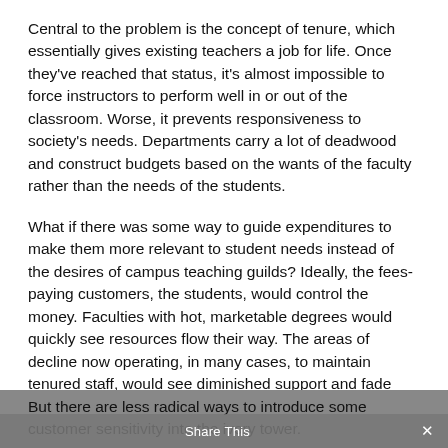Central to the problem is the concept of tenure, which essentially gives existing teachers a job for life. Once they've reached that status, it's almost impossible to force instructors to perform well in or out of the classroom. Worse, it prevents responsiveness to society's needs. Departments carry a lot of deadwood and construct budgets based on the wants of the faculty rather than the needs of the students.
What if there was some way to guide expenditures to make them more relevant to student needs instead of the desires of campus teaching guilds? Ideally, the fees-paying customers, the students, would control the money. Faculties with hot, marketable degrees would quickly see resources flow their way. The areas of decline now operating, in many cases, to maintain tenured staff, would see diminished support and fade away.
But there are less radical ways to introduce some customer sensitivity into the ivory tower.